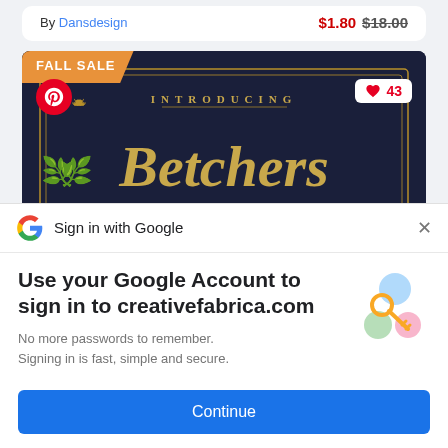By Dansdesign   $1.80  $18.00
[Figure (illustration): Product card showing 'Betchers' modern luxury blackletter font on a dark navy background with gold ornamental decorations. Has a FALL SALE badge, Pinterest icon, and heart/likes count of 43.]
Sign in with Google
Use your Google Account to sign in to creativefabrica.com
No more passwords to remember. Signing in is fast, simple and secure.
Continue